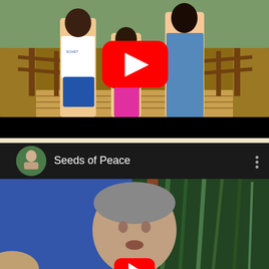[Figure (screenshot): YouTube video thumbnail showing a family of three (a tall teenage boy in white t-shirt and blue shorts, a young girl in pink pants and dark jacket, and a tall woman in blue denim dress) standing on a wooden bridge. A red YouTube play button is centered over the image. Below the image is a black bar (video controls area).]
[Figure (screenshot): YouTube video player showing a second video titled 'Seeds of Peace'. The video header bar is dark/black with a circular channel avatar on the left, the text 'Seeds of Peace' in white, and a three-dot menu icon on the right. The video content shows a man with gray hair speaking in front of a colorful mural background (blue and green tones). A red YouTube play button is partially visible at the bottom center.]